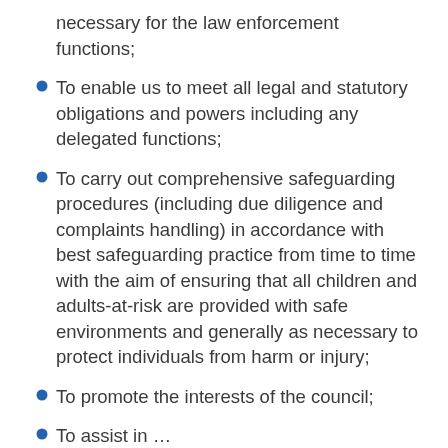necessary for the law enforcement functions;
To enable us to meet all legal and statutory obligations and powers including any delegated functions;
To carry out comprehensive safeguarding procedures (including due diligence and complaints handling) in accordance with best safeguarding practice from time to time with the aim of ensuring that all children and adults-at-risk are provided with safe environments and generally as necessary to protect individuals from harm or injury;
To promote the interests of the council;
To assist in …